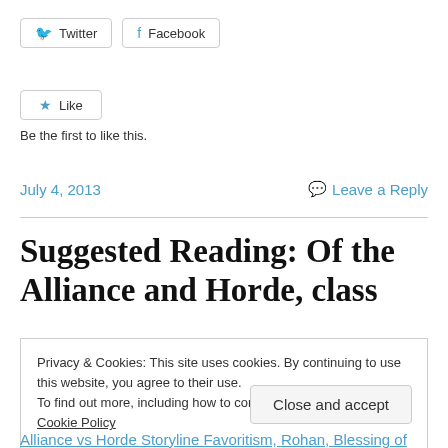[Figure (other): Twitter and Facebook social share buttons]
[Figure (other): Like button widget]
Be the first to like this.
July 4, 2013    Leave a Reply
Suggested Reading: Of the Alliance and Horde, class
Privacy & Cookies: This site uses cookies. By continuing to use this website, you agree to their use.
To find out more, including how to control cookies, see here: Cookie Policy
Close and accept
Alliance vs Horde Storyline Favoritism, Rohan, Blessing of